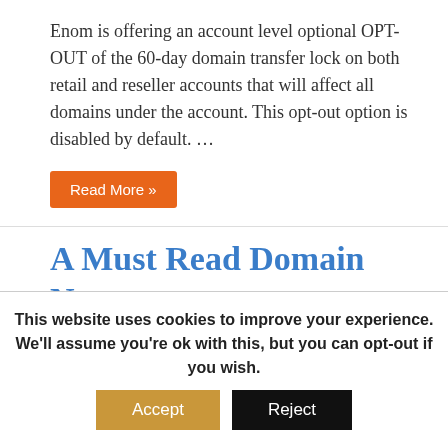Enom is offering an account level optional OPT-OUT of the 60-day domain transfer lock on both retail and reseller accounts that will affect all domains under the account. This opt-out option is disabled by default. …
Read More »
A Must Read Domain Name Management Handbook
© May 25, 2016
Domain Name News, Domain Privacy, Domain Registration, Domain Renewals, Domain Transfers, Manage
This website uses cookies to improve your experience. We'll assume you're ok with this, but you can opt-out if you wish.
Accept
Reject